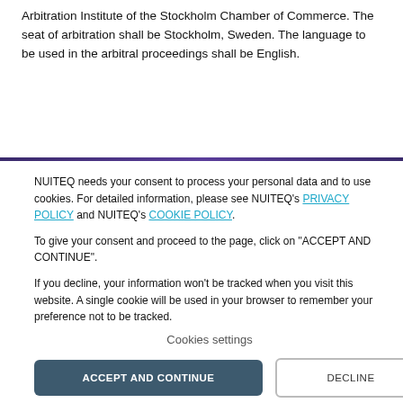Arbitration Institute of the Stockholm Chamber of Commerce. The seat of arbitration shall be Stockholm, Sweden. The language to be used in the arbitral proceedings shall be English.
NUITEQ needs your consent to process your personal data and to use cookies. For detailed information, please see NUITEQ's PRIVACY POLICY and NUITEQ's COOKIE POLICY.
To give your consent and proceed to the page, click on "ACCEPT AND CONTINUE".
If you decline, your information won't be tracked when you visit this website. A single cookie will be used in your browser to remember your preference not to be tracked.
Cookies settings
ACCEPT AND CONTINUE
DECLINE